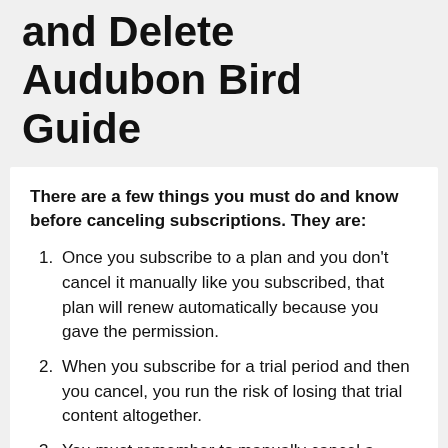and Delete Audubon Bird Guide
There are a few things you must do and know before canceling subscriptions. They are:
Once you subscribe to a plan and you don't cancel it manually like you subscribed, that plan will renew automatically because you gave the permission.
When you subscribe for a trial period and then you cancel, you run the risk of losing that trial content altogether.
You must remember to manually cancel a subscription 24 hours before the trial period ends.
We have made it super easy to cancel Audubon Bird